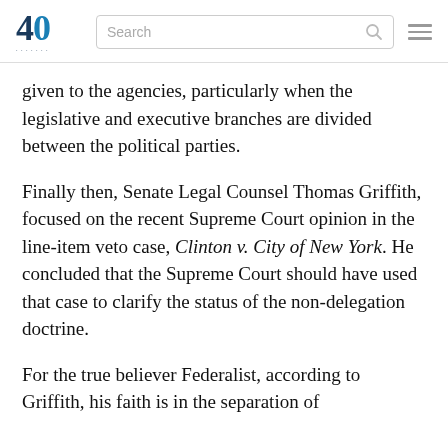40 | Search
given to the agencies, particularly when the legislative and executive branches are divided between the political parties.
Finally then, Senate Legal Counsel Thomas Griffith, focused on the recent Supreme Court opinion in the line-item veto case, Clinton v. City of New York. He concluded that the Supreme Court should have used that case to clarify the status of the non-delegation doctrine.
For the true believer Federalist, according to Griffith, his faith is in the separation of